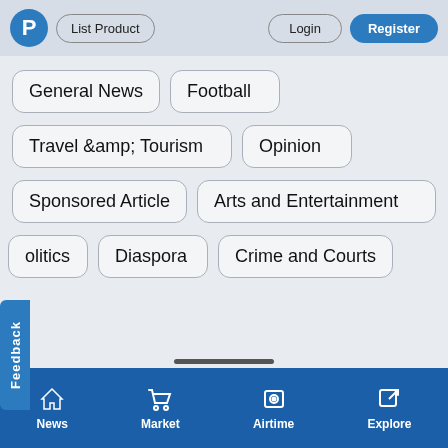P  List Product  Login  Register
General News
Football
Travel &amp; Tourism
Opinion
Sponsored Article
Arts and Entertainment
Politics
Diaspora
Crime and Courts
News  Market  Airtime  Explore